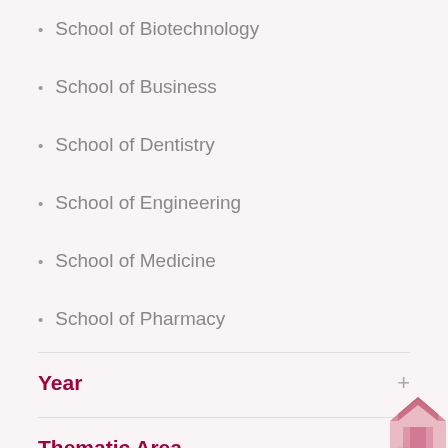School of Biotechnology
School of Business
School of Dentistry
School of Engineering
School of Medicine
School of Pharmacy
Year
Thematic Area